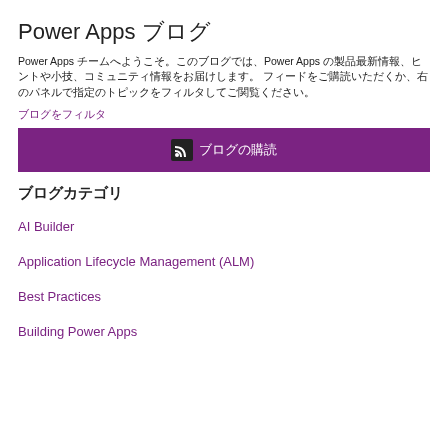Power Apps ブログ
Power Apps チームへようこそ。このブログでは、Power Apps の製品最新情報、ヒントや小技、コミュニティ情報をお届けします。 フィードをご購読いただくか、右のパネルで指定のトピックをフィルタしてご関覧ください。
ブログをフィルタ
[Figure (other): Purple subscribe button with RSS icon and Japanese text]
ブログカテゴリ
AI Builder
Application Lifecycle Management (ALM)
Best Practices
Building Power Apps